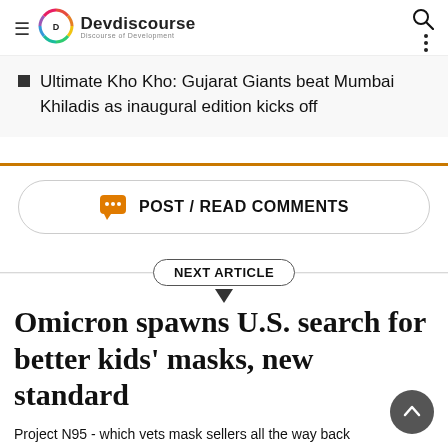Devdiscourse - Discourse of Development
Ultimate Kho Kho: Gujarat Giants beat Mumbai Khiladis as inaugural edition kicks off
POST / READ COMMENTS
NEXT ARTICLE
Omicron spawns U.S. search for better kids' masks, new standard
Project N95 - which vets mask sellers all the way back